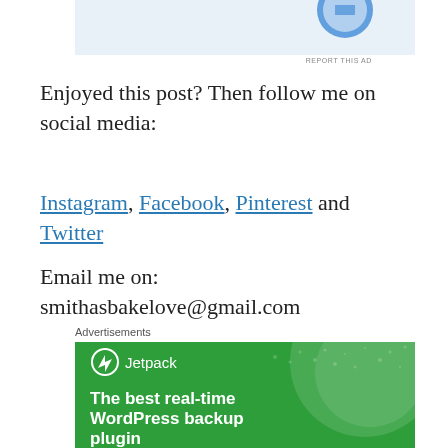[Figure (screenshot): Top portion of an advertisement banner with blue icon visible and light blue background]
REPORT THIS AD
Enjoyed this post? Then follow me on social media:
Instagram, Facebook, Pinterest and Twitter
Email me on: smithasbakelove@gmail.com
Advertisements
[Figure (screenshot): Jetpack WordPress plugin advertisement with green background showing 'The best real-time WordPress backup plugin' text and Jetpack logo]